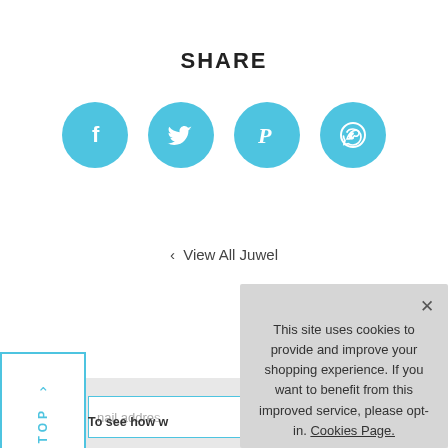SHARE
[Figure (infographic): Four social media share buttons in teal/blue circles: Facebook (f), Twitter (bird), Pinterest (P), WhatsApp (phone in speech bubble)]
‹ View All Juwel
mail addre...
To see how w...
This site uses cookies to provide and improve your shopping experience. If you want to benefit from this improved service, please opt-in. Cookies Page.
I opt-in to a better browsing experience
ACCEPT COOKIES